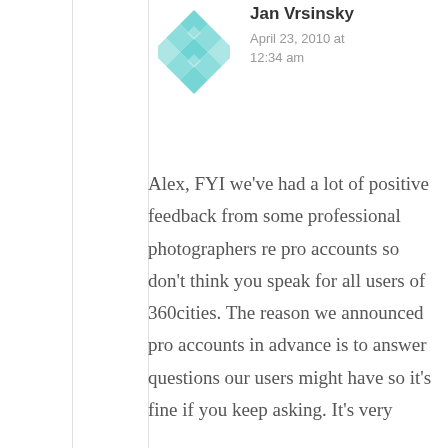[Figure (illustration): Teal/turquoise geometric diamond pattern avatar icon for user Jan Vrsinsky]
Jan Vrsinsky
April 23, 2010 at 12:34 am
Alex, FYI we've had a lot of positive feedback from some professional photographers re pro accounts so don't think you speak for all users of 360cities. The reason we announced pro accounts in advance is to answer questions our users might have so it's fine if you keep asking. It's very